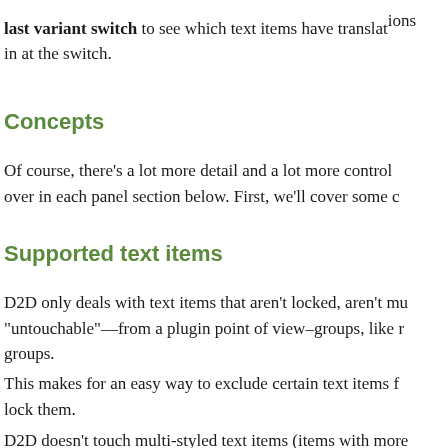last variant switch to see which text items have translations in at the switch.
Concepts
Of course, there's a lot more detail and a lot more control over in each panel section below. First, we'll cover some c
Supported text items
D2D only deals with text items that aren't locked, aren't mu "untouchable"—from a plugin point of view–groups, like r groups.
This makes for an easy way to exclude certain text items f lock them.
D2D doesn't touch multi-styled text items (items with more